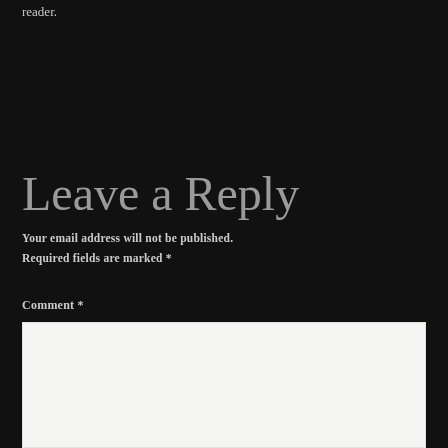reader.
Leave a Reply
Your email address will not be published.
Required fields are marked *
Comment *